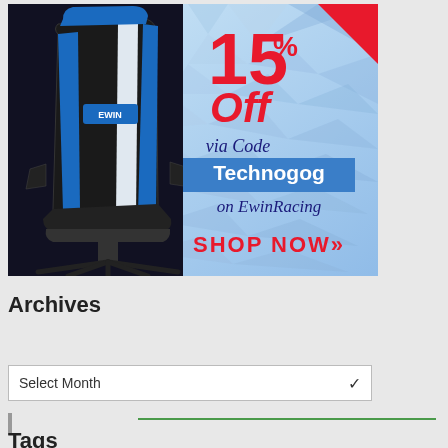[Figure (advertisement): EwinRacing gaming chair advertisement. Blue and white gaming chair on left. Text reads: 15% Off via Code Technogog on EwinRacing SHOP NOW>>. Red corner banner top right.]
Archives
Select Month
Tags